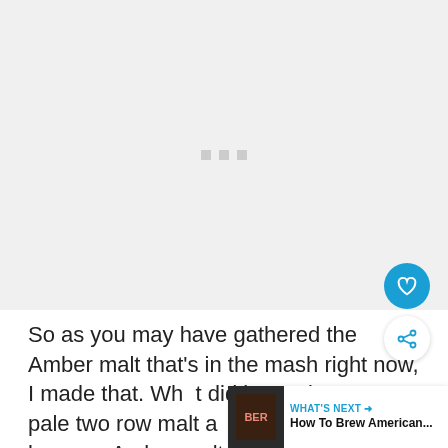[Figure (other): Video player area showing a loading/buffering state with three small grey square dots in the center on a light grey background]
So as you may have gathered the Amber malt that's in the mash right now, I made that. What did is I took some pale two row malt and roasted it to become Amber malt. And here's what I did.